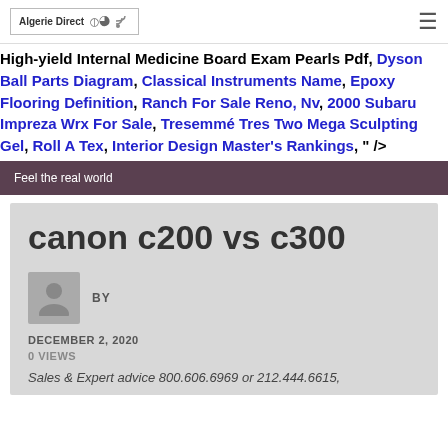[Figure (logo): Algerie Direct logo with RSS icon]
High-yield Internal Medicine Board Exam Pearls Pdf, Dyson Ball Parts Diagram, Classical Instruments Name, Epoxy Flooring Definition, Ranch For Sale Reno, Nv, 2000 Subaru Impreza Wrx For Sale, Tresemmé Tres Two Mega Sculpting Gel, Roll A Tex, Interior Design Master's Rankings, " />
Feel the real world
canon c200 vs c300
BY
DECEMBER 2, 2020
0 VIEWS
Sales & Expert advice 800.606.6969 or 212.444.6615,